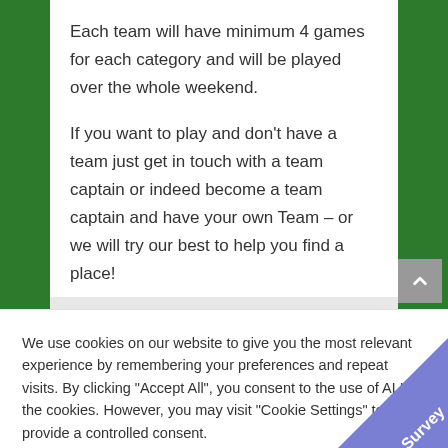Each team will have minimum 4 games for each category and will be played over the whole weekend.
If you want to play and don't have a team just get in touch with a team captain or indeed become a team captain and have your own Team – or we will try our best to help you find a place!
We use cookies on our website to give you the most relevant experience by remembering your preferences and repeat visits. By clicking "Accept All", you consent to the use of ALL the cookies. However, you may visit "Cookie Settings" to provide a controlled consent.